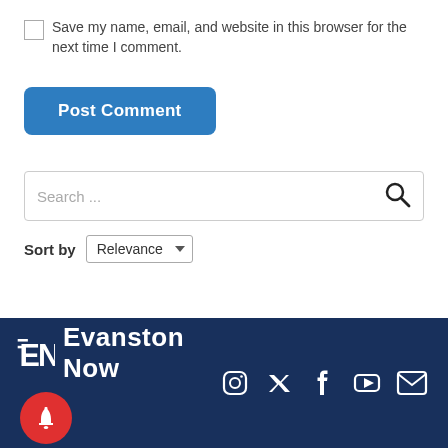Save my name, email, and website in this browser for the next time I comment.
Post Comment
Search ...
Sort by Relevance
[Figure (logo): Evanston Now logo with EN monogram, bell notification icon, and social media icons (Instagram, Twitter, Facebook, YouTube, Email) on dark navy background]